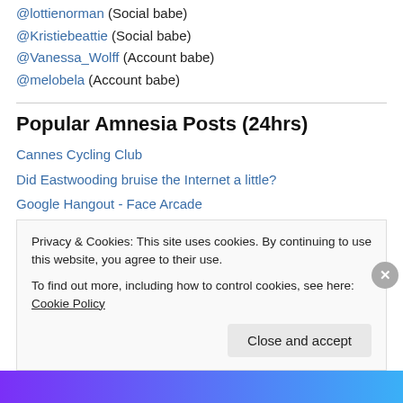@lottienorman (Social babe)
@Kristiebeattie (Social babe)
@Vanessa_Wolff (Account babe)
@melobela (Account babe)
Popular Amnesia Posts (24hrs)
Cannes Cycling Club
Did Eastwooding bruise the Internet a little?
Google Hangout - Face Arcade
Type by Hand
Myspace's making a comeback...
Never ever have greasy hands again
Privacy & Cookies: This site uses cookies. By continuing to use this website, you agree to their use.
To find out more, including how to control cookies, see here: Cookie Policy
Close and accept